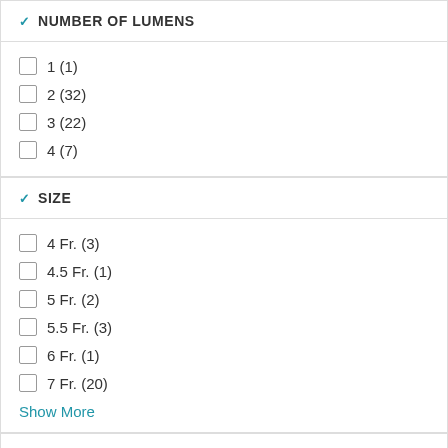NUMBER OF LUMENS
1 (1)
2 (32)
3 (22)
4 (7)
SIZE
4 Fr. (3)
4.5 Fr. (1)
5 Fr. (2)
5.5 Fr. (3)
6 Fr. (1)
7 Fr. (20)
Show More
LENGTH